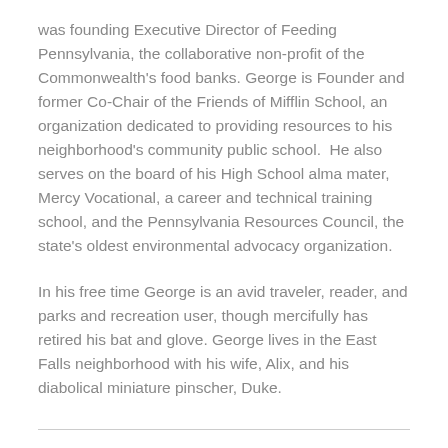was founding Executive Director of Feeding Pennsylvania, the collaborative non-profit of the Commonwealth's food banks. George is Founder and former Co-Chair of the Friends of Mifflin School, an organization dedicated to providing resources to his neighborhood's community public school.  He also serves on the board of his High School alma mater, Mercy Vocational, a career and technical training school, and the Pennsylvania Resources Council, the state's oldest environmental advocacy organization.
In his free time George is an avid traveler, reader, and parks and recreation user, though mercifully has retired his bat and glove. George lives in the East Falls neighborhood with his wife, Alix, and his diabolical miniature pinscher, Duke.